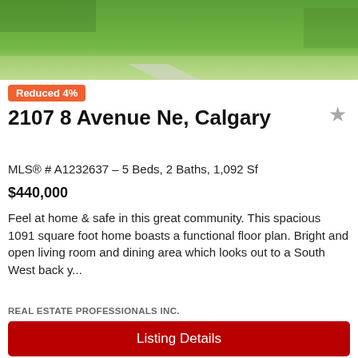[Figure (photo): Top photo showing green lawn/yard of property]
Reduced 4%
2107 8 Avenue Ne, Calgary
MLS® # A1232637 – 5 Beds, 2 Baths, 1,092 Sf
$440,000
Feel at home & safe in this great community. This spacious 1091 square foot home boasts a functional floor plan. Bright and open living room and dining area which looks out to a South West back y...
REAL ESTATE PROFESSIONALS INC.
Listing Details
REAL ESTATE PROFESSIONALS INC.
[Figure (photo): Interior kitchen photo showing wood cabinets and light fixture]
Search Near Me